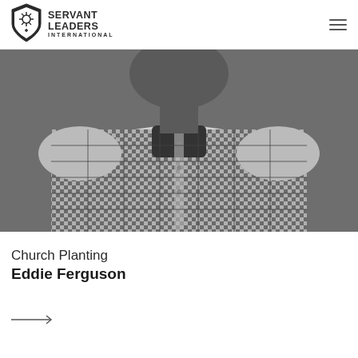Servant Leaders International
[Figure (photo): Black and white photo of a man wearing a plaid/gingham button-up shirt, torso and head cropped, standing against a brick wall background.]
Church Planting
Eddie Ferguson
[Figure (other): Right-pointing arrow navigation element]